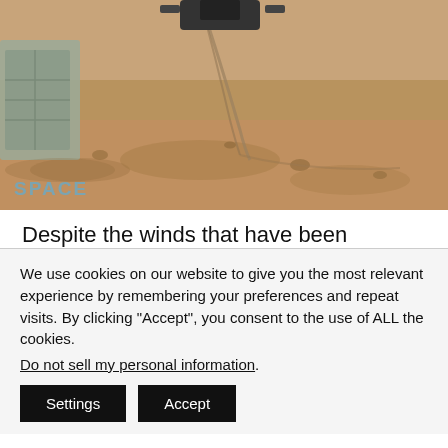[Figure (photo): Photo of Mars surface from NASA InSight lander, showing reddish-brown sandy terrain with the lander arm visible. SPACE.com logo watermark visible in lower left.]
Despite the winds that have been shaking the seismometer, InSight's solar panels remain covered with dust, and power is running lower as Mars moves away from the Sun. Energy levels are
We use cookies on our website to give you the most relevant experience by remembering your preferences and repeat visits. By clicking "Accept", you consent to the use of ALL the cookies.
Do not sell my personal information.
Settings    Accept